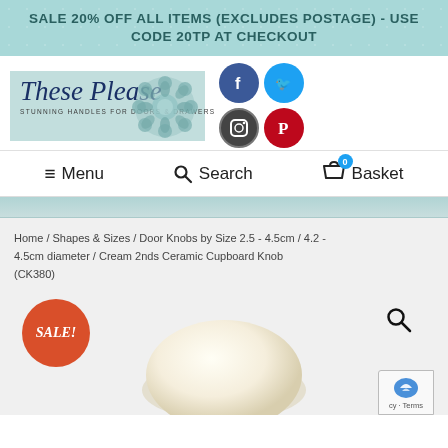SALE 20% OFF ALL ITEMS (EXCLUDES POSTAGE) - USE CODE 20TP AT CHECKOUT
[Figure (logo): These Please logo with cursive text and floral decoration, with social media icons (Facebook, Twitter, Instagram, Pinterest)]
STUNNING HANDLES FOR DOORS & DRAWERS
≡ Menu   🔍 Search   🛒 Basket (0)
Home / Shapes & Sizes / Door Knobs by Size 2.5 - 4.5cm / 4.2 - 4.5cm diameter / Cream 2nds Ceramic Cupboard Knob (CK380)
[Figure (photo): Cream ceramic cupboard knob product photo with SALE badge and magnify icon]